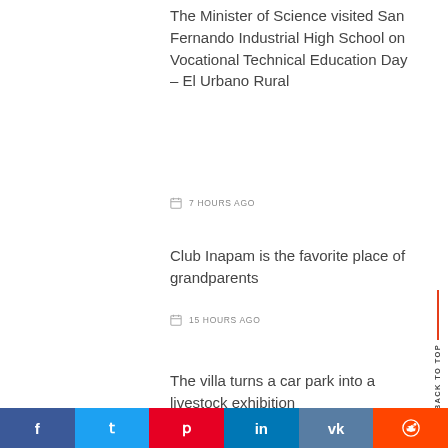The Minister of Science visited San Fernando Industrial High School on Vocational Technical Education Day – El Urbano Rural
7 HOURS AGO
Club Inapam is the favorite place of grandparents
15 HOURS AGO
The villa turns a car park into a livestock exhibition